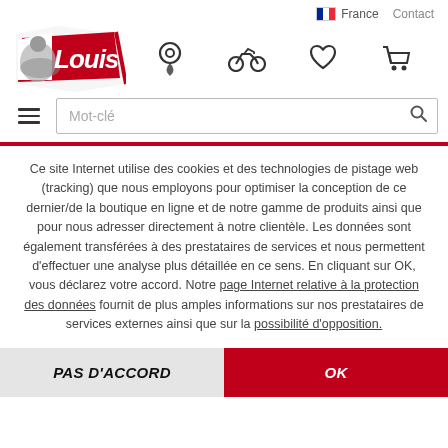[Figure (logo): Louis motorcycle accessories brand logo — stylized red 'Louis' text on a white and red angular background with a motorbike rider silhouette]
[Figure (screenshot): Website header with France flag + 'France' label and 'Contact' link, Louis logo, navigation icons (location pin, motorcycle, heart, cart), hamburger menu, and search bar with placeholder 'Mot-clé']
Ce site Internet utilise des cookies et des technologies de pistage web (tracking) que nous employons pour optimiser la conception de ce dernier/de la boutique en ligne et de notre gamme de produits ainsi que pour nous adresser directement à notre clientèle. Les données sont également transférées à des prestataires de services et nous permettent d'effectuer une analyse plus détaillée en ce sens. En cliquant sur OK, vous déclarez votre accord. Notre page Internet relative à la protection des données fournit de plus amples informations sur nos prestataires de services externes ainsi que sur la possibilité d'opposition.
PAS D'ACCORD
OK